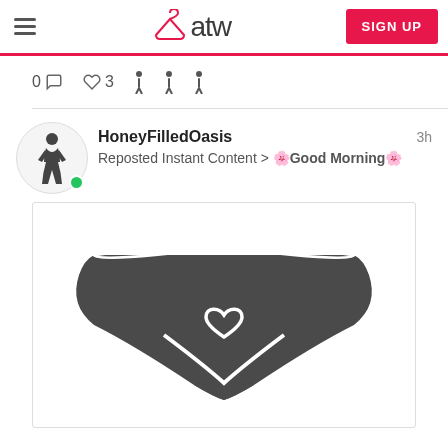atw | SIGN UP
[Figure (illustration): Lingerie icon illustration (thong/underwear) in dark gray, partially visible at top]
0 💬  ♡3  ↓ ↓ ↓
HoneyFilledOasis   3h
Reposted Instant Content > 🌸Good Morning🌸
[Figure (illustration): Lingerie icon illustration (thong/underwear with heart motif) in dark gray]